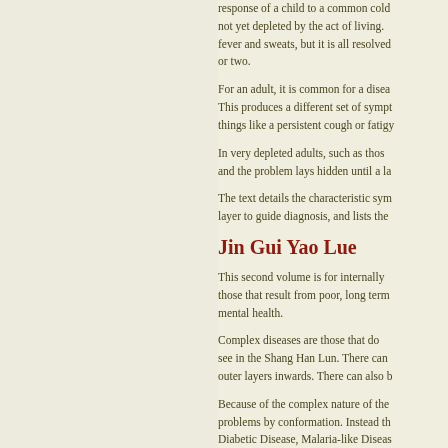response of a child to a common cold... not yet depleted by the act of living... fever and sweats, but it is all resolved... or two.
For an adult, it is common for a disease... This produces a different set of symptoms... things like a persistent cough or fatigue...
In very depleted adults, such as those... and the problem lays hidden until a la...
The text details the characteristic symptoms... layer to guide diagnosis, and lists the...
Jin Gui Yao Lue
This second volume is for internally... those that result from poor, long term... mental health.
Complex diseases are those that do... see in the Shang Han Lun. There can... outer layers inwards. There can also b...
Because of the complex nature of the... problems by conformation. Instead th... Diabetic Disease, Malaria-like Disease...
Whilst some of the diseases of the Jin...